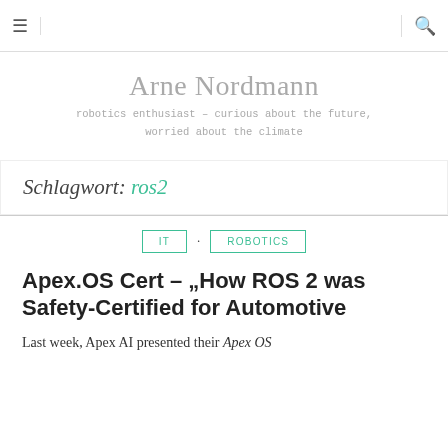≡  [search]
Arne Nordmann
robotics enthusiast – curious about the future, worried about the climate
Schlagwort: ros2
IT · ROBOTICS
Apex.OS Cert – „How ROS 2 was Safety-Certified for Automotive
Last week, Apex AI presented their Apex OS